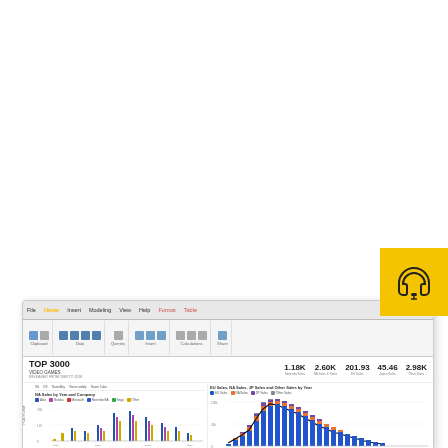[Figure (screenshot): Yellow badge with headphone/support icon in upper right area of page]
[Figure (screenshot): Power BI desktop screenshot showing a dashboard titled 'TOP 3000 VIDEO GAMES' with KPI metrics: 1.18K (Nintendo Sales), 2.60K (NA Sales & Sales), 201.93 (EU Sales), 45.46 (Japan Sales), 2.98K (Other Sales). Contains ribbon/toolbar at top, a bar chart 'NA Sales by Year and Company' with colored bars (blue, purple, yellow etc.), and a stacked bar chart 'EU Sales, NA Sales, JP Sales and Other Sales by Year' with colored stacked bars (blue, orange, purple). Also shows platform list on left side.]